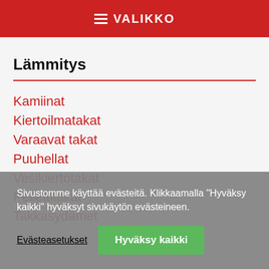VALIKKO
Lämmitys
Kamiinat
Kiertoilmatakat
Varaavat takat
Puuhellat
Vesikiertotakat
Pellettitakat
Takkasydämet
Sivustomme käyttää evästeitä. Klikkaamalla "Hyväksy kaikki" hyväksyt sivukäytön evästeineen.
Evästeasetukset
Hyväksy kaikki